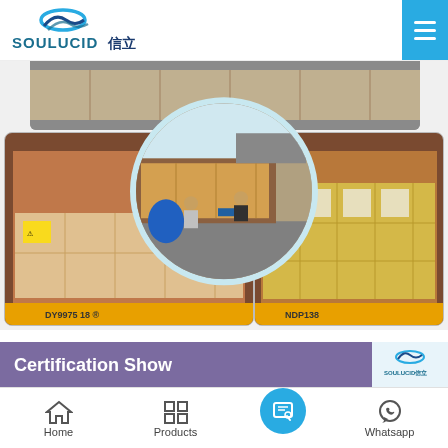SOULUCID信立
[Figure (photo): Three photos of shipping containers being loaded with packaged goods, workers visible, with a circular center image of workers loading boxes onto a truck]
Although it has a large number of orders, it is not sloppy in packaging.
Certification Show
Home  Products  Whatsapp